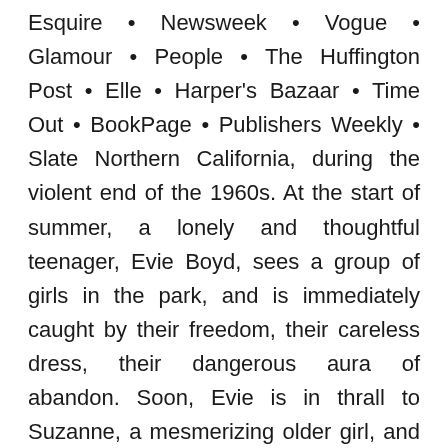Esquire • Newsweek • Vogue • Glamour • People • The Huffington Post • Elle • Harper's Bazaar • Time Out • BookPage • Publishers Weekly • Slate Northern California, during the violent end of the 1960s. At the start of summer, a lonely and thoughtful teenager, Evie Boyd, sees a group of girls in the park, and is immediately caught by their freedom, their careless dress, their dangerous aura of abandon. Soon, Evie is in thrall to Suzanne, a mesmerizing older girl, and is drawn into the circle of a soon-to-be infamous cult and the man who is its charismatic leader. Hidden in the hills, their sprawling ranch is eerie and run down, but to Evie, it is exotic, thrilling, charged—a place where she feels desperate to be accepted. As she spends more time away from her mother